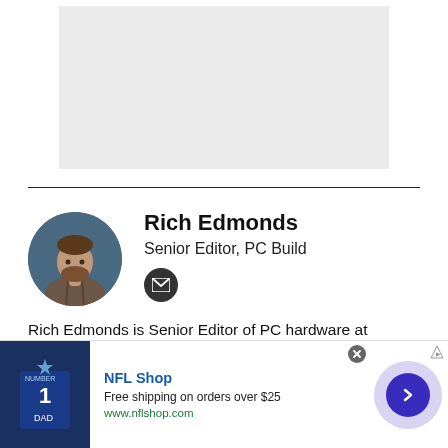[Figure (other): Gray placeholder image box]
Rich Edmonds
Senior Editor, PC Build
[Figure (photo): Circular profile photo of Rich Edmonds, a man with beard wearing plaid shirt against blue background]
[Figure (other): Dark circular email icon with envelope symbol]
Rich Edmonds is Senior Editor of PC hardware at Windows Central, covering everything related to
[Figure (other): NFL Shop advertisement banner with NFL jersey product image, close button, and arrow navigation button. Text: NFL Shop, Free shipping on orders over $25, www.nflshop.com]